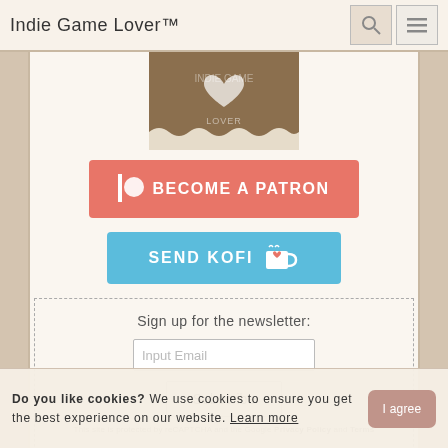Indie Game Lover™
[Figure (logo): Indie Game Lover logo with heart and game controller, brown textured background]
[Figure (illustration): Become a Patron button - coral/salmon colored rectangular button with Patreon icon and bold white text]
[Figure (illustration): Send Kofi button - blue rectangular button with coffee cup icon and white text]
Sign up for the newsletter:
Input Email
Subscribe
This site is protected by reCAPTCHA and the Google Privacy Policy and Terms of Service apply.
Do you like cookies? We use cookies to ensure you get the best experience on our website. Learn more